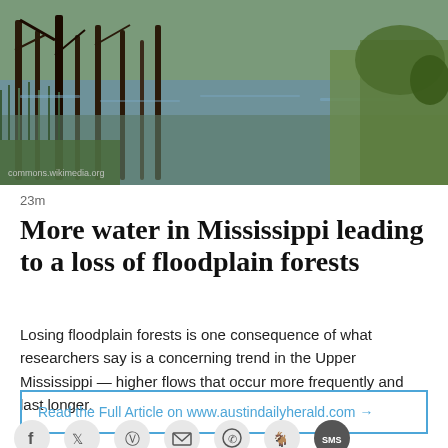[Figure (photo): Flooded wetland/floodplain forest with water among tree trunks and reeds, taken from the shore. Watermark reads 'commons.wikimedia.org'.]
23m
More water in Mississippi leading to a loss of floodplain forests
Losing floodplain forests is one consequence of what researchers say is a concerning trend in the Upper Mississippi — higher flows that occur more frequently and last longer.
Read the Full Article on www.austindailyherald.com →